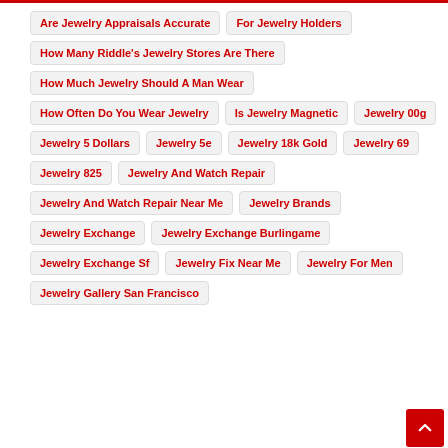Are Jewelry Appraisals Accurate
For Jewelry Holders
How Many Riddle's Jewelry Stores Are There
How Much Jewelry Should A Man Wear
How Often Do You Wear Jewelry
Is Jewelry Magnetic
Jewelry 00g
Jewelry 5 Dollars
Jewelry 5e
Jewelry 18k Gold
Jewelry 69
Jewelry 825
Jewelry And Watch Repair
Jewelry And Watch Repair Near Me
Jewelry Brands
Jewelry Exchange
Jewelry Exchange Burlingame
Jewelry Exchange Sf
Jewelry Fix Near Me
Jewelry For Men
Jewelry Gallery San Francisco